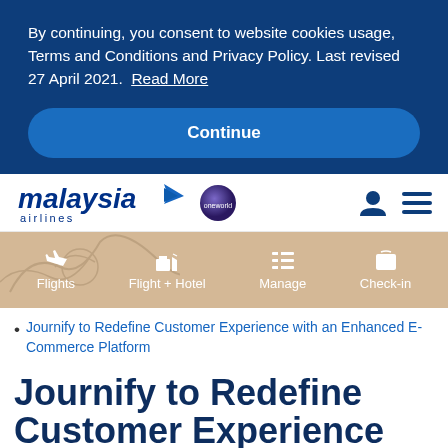By continuing, you consent to website cookies usage, Terms and Conditions and Privacy Policy. Last revised 27 April 2021. Read More
Continue
[Figure (logo): Malaysia Airlines logo with stylized plane icon, oneworld badge, user icon, and hamburger menu icon]
[Figure (infographic): Tan/beige navigation bar with bird background graphic and four navigation items: Flights, Flight + Hotel, Manage, Check-in]
Journify to Redefine Customer Experience with an Enhanced E-Commerce Platform
Journify to Redefine Customer Experience